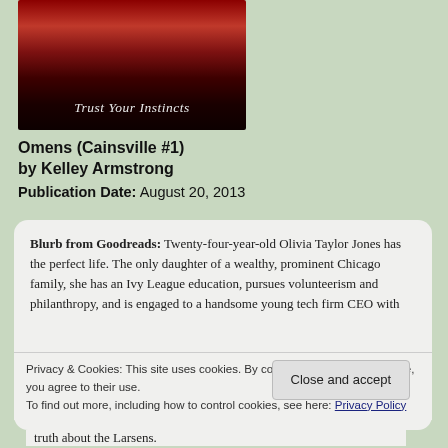[Figure (illustration): Book cover for 'Omens (Cainsville #1)' by Kelley Armstrong. Dark red sky with bare tree silhouette and moody landscape. Text reads 'Trust Your Instincts'.]
Omens (Cainsville #1)
by Kelley Armstrong
Publication Date: August 20, 2013
Blurb from Goodreads: Twenty-four-year-old Olivia Taylor Jones has the perfect life. The only daughter of a wealthy, prominent Chicago family, she has an Ivy League education, pursues volunteerism and philanthropy, and is engaged to a handsome young tech firm CEO with
Privacy & Cookies: This site uses cookies. By continuing to use this website, you agree to their use.
To find out more, including how to control cookies, see here: Privacy Policy
truth about the Larsens.